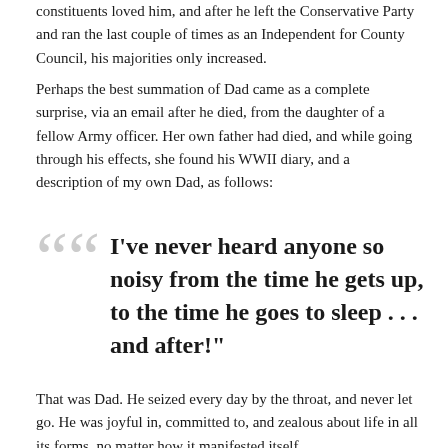constituents loved him, and after he left the Conservative Party and ran the last couple of times as an Independent for County Council, his majorities only increased.
Perhaps the best summation of Dad came as a complete surprise, via an email after he died, from the daughter of a fellow Army officer. Her own father had died, and while going through his effects, she found his WWII diary, and a description of my own Dad, as follows:
“I’ve never heard anyone so noisy from the time he gets up, to the time he goes to sleep . . . and after!”
That was Dad. He seized every day by the throat, and never let go. He was joyful in, committed to, and zealous about life in all its forms, no matter how it manifested itself.